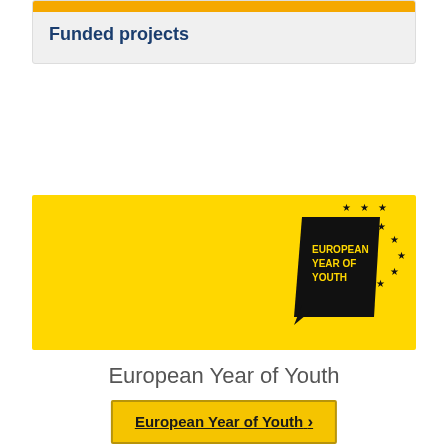Funded projects
[Figure (logo): European Year of Youth yellow banner with black logo badge showing stars and text 'EUROPEAN YEAR OF YOUTH']
European Year of Youth
European Year of Youth →